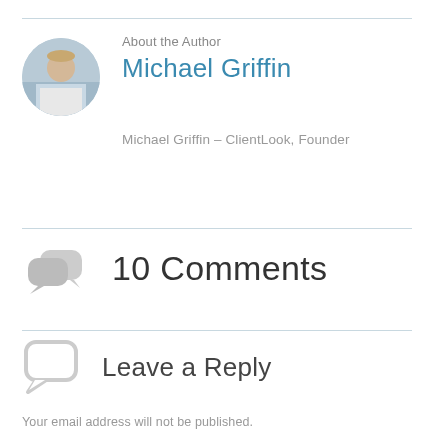About the Author
Michael Griffin
Michael Griffin - ClientLook, Founder
[Figure (illustration): Speech bubble icon with two overlapping chat bubbles in gray, indicating comments]
10 Comments
[Figure (illustration): Single speech bubble outline icon in light gray, indicating leave a reply]
Leave a Reply
Your email address will not be published.